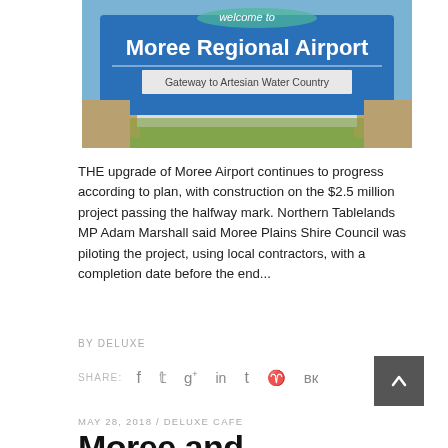[Figure (photo): Photo of Moree Regional Airport welcome sign reading 'welcome to Moree Regional Airport, Gateway to Artesian Water Country' against a blue sky background]
THE upgrade of Moree Airport continues to progress according to plan, with construction on the $2.5 million project passing the halfway mark. Northern Tablelands MP Adam Marshall said Moree Plains Shire Council was piloting the project, using local contractors, with a completion date before the end...
BY DELUXE
SHARE:
MAY 28, 2018 / DELUXE CAFE
Moree and